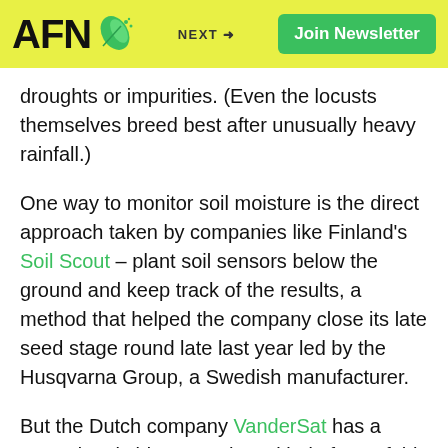AFN | NEXT + | Join Newsletter
droughts or impurities. (Even the locusts themselves breed best after unusually heavy rainfall.)
One way to monitor soil moisture is the direct approach taken by companies like Finland's Soil Scout – plant soil sensors below the ground and keep track of the results, a method that helped the company close its late seed stage round late last year led by the Husqvarna Group, a Swedish manufacturer.
But the Dutch company VanderSat has a more drastic idea, one that's kind of out of this world. Namely, measure and map the soil's moisture from